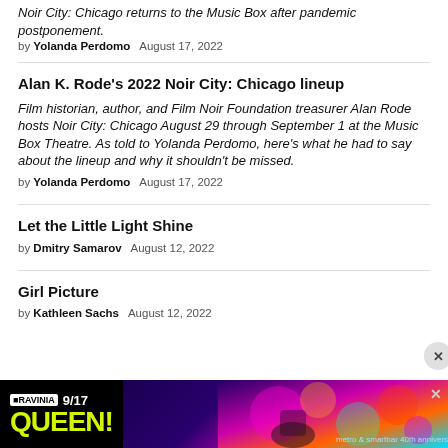Noir City: Chicago returns to the Music Box after pandemic postponement.
by Yolanda Perdomo   August 17, 2022
Alan K. Rode's 2022 Noir City: Chicago lineup
Film historian, author, and Film Noir Foundation treasurer Alan Rode hosts Noir City: Chicago August 29 through September 1 at the Music Box Theatre. As told to Yolanda Perdomo, here's what he had to say about the lineup and why it shouldn't be missed.
by Yolanda Perdomo   August 17, 2022
Let the Little Light Shine
by Dmitry Samarov   August 12, 2022
Girl Picture
by Kathleen Sachs   August 12, 2022
[Figure (other): Advertisement banner for Ravinia QUEEN show 9/17, featuring colorful psychedelic graphic and text 'metro & smartbar 40th anniversary']